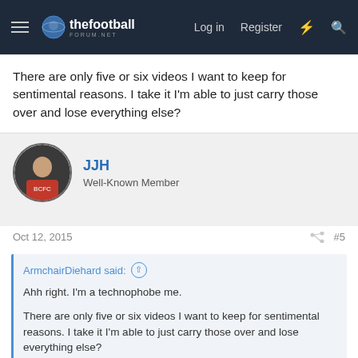thefootballforum.net — Log in | Register
There are only five or six videos I want to keep for sentimental reasons. I take it I'm able to just carry those over and lose everything else?
JJH
Well-Known Member
Oct 12, 2015  #5
ArmchairDiehard said:
Ahh right. I'm a technophobe me.

There are only five or six videos I want to keep for sentimental reasons. I take it I'm able to just carry those over and lose everything else?